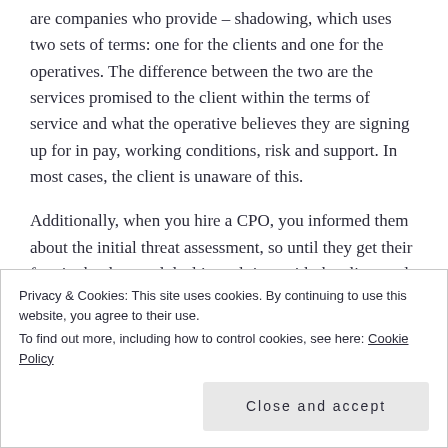are companies who provide – shadowing, which uses two sets of terms: one for the clients and one for the operatives. The difference between the two are the services promised to the client within the terms of service and what the operative believes they are signing up for in pay, working conditions, risk and support. In most cases, the client is unaware of this.
Additionally, when you hire a CPO, you informed them about the initial threat assessment, so until they get their foot in the door and deal in real time with the client and his environment and do their own assessment they have
Privacy & Cookies: This site uses cookies. By continuing to use this website, you agree to their use.
To find out more, including how to control cookies, see here: Cookie Policy
Close and accept